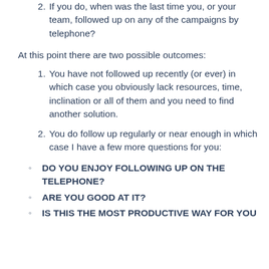2. If you do, when was the last time you, or your team, followed up on any of the campaigns by telephone?
At this point there are two possible outcomes:
1. You have not followed up recently (or ever) in which case you obviously lack resources, time, inclination or all of them and you need to find another solution.
2. You do follow up regularly or near enough in which case I have a few more questions for you:
DO YOU ENJOY FOLLOWING UP ON THE TELEPHONE?
ARE YOU GOOD AT IT?
IS THIS THE MOST PRODUCTIVE WAY FOR YOU